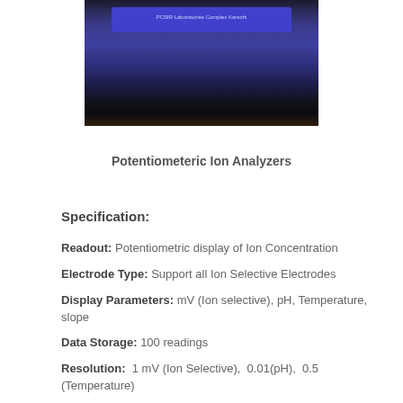[Figure (photo): Photograph of a Potentiometric Ion Analyzer instrument from PCSIR Laboratories Complex Karachi, showing a blue rectangular device with display and controls on a dark background.]
Potentiometeric Ion Analyzers
Specification:
Readout: Potentiometric display of Ion Concentration
Electrode Type: Support all Ion Selective Electrodes
Display Parameters: mV (Ion selective), pH, Temperature, slope
Data Storage: 100 readings
Resolution:  1 mV (Ion Selective),  0.01(pH),  0.5 (Temperature)